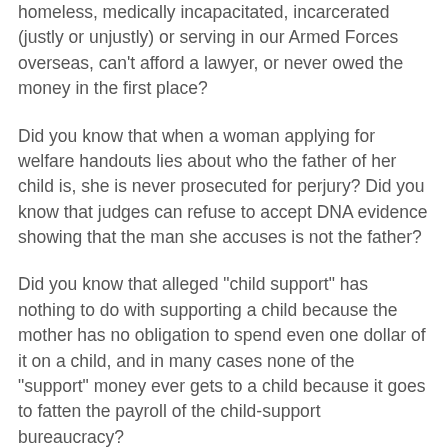homeless, medically incapacitated, incarcerated (justly or unjustly) or serving in our Armed Forces overseas, can't afford a lawyer, or never owed the money in the first place?
Did you know that when a woman applying for welfare handouts lies about who the father of her child is, she is never prosecuted for perjury? Did you know that judges can refuse to accept DNA evidence showing that the man she accuses is not the father?
Did you know that alleged "child support" has nothing to do with supporting a child because the mother has no obligation to spend even one dollar of it on a child, and in many cases none of the "support" money ever gets to a child because it goes to fatten the payroll of the child-support bureaucracy?
These are among the injustices that the feminists, and their docile liberal male allies, have